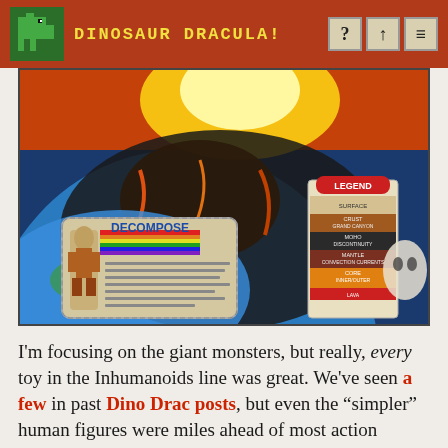DINOSAUR DRACULA!
[Figure (photo): Close-up photo of the Inhumanoids board game/playset showing colorful fantasy artwork with giant monsters, lava, earth cross-section, a DECOMPOSE character card, and a LEGEND card showing layers: Surface, Crust/Grand Canyon, Moho Discontinuity, Mantle/Convection Currents, Core/Inner/Outer.]
I'm focusing on the giant monsters, but really, every toy in the Inhumanoids line was great. We've seen a few in past Dino Drac posts, but even the “simpler” human figures were miles ahead of most action figures.